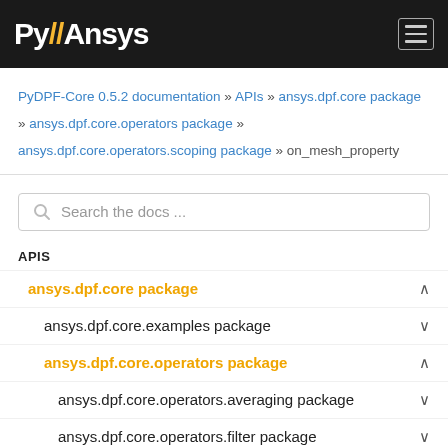Py//Ansys
PyDPF-Core 0.5.2 documentation » APIs » ansys.dpf.core package » ansys.dpf.core.operators package » ansys.dpf.core.operators.scoping package » on_mesh_property
Search the docs ...
APIS
ansys.dpf.core package
ansys.dpf.core.examples package
ansys.dpf.core.operators package
ansys.dpf.core.operators.averaging package
ansys.dpf.core.operators.filter package
ansys.dpf.core.operators.geo package